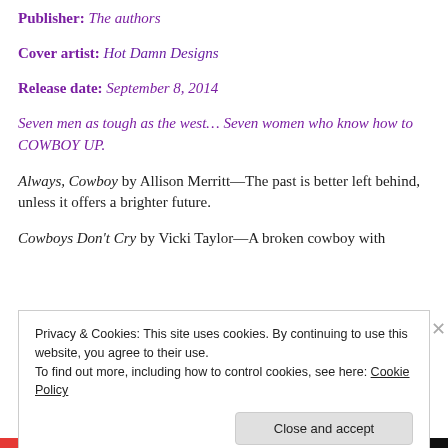Publisher: The authors
Cover artist: Hot Damn Designs
Release date: September 8, 2014
Seven men as tough as the west… Seven women who know how to COWBOY UP.
Always, Cowboy by Allison Merritt—The past is better left behind, unless it offers a brighter future.
Cowboys Don't Cry by Vicki Taylor—A broken cowboy with
Privacy & Cookies: This site uses cookies. By continuing to use this website, you agree to their use.
To find out more, including how to control cookies, see here: Cookie Policy
Close and accept